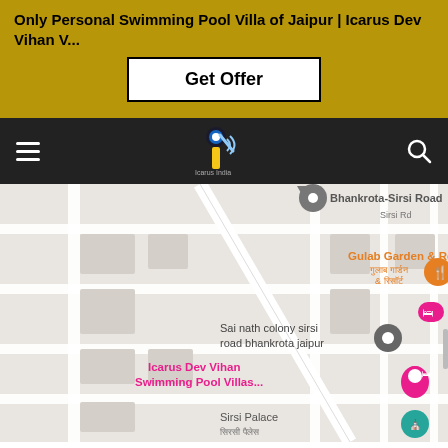Only Personal Swimming Pool Villa of Jaipur | Icarus Dev Vihan V...
Get Offer
[Figure (screenshot): Website navigation bar with hamburger menu, Icarus India logo, and search icon on dark background]
[Figure (map): Google Maps screenshot showing area near Bhankrota-Sirsi Road, Jaipur with markers for Gulab Garden & Resort, Sai nath colony sirsi road bhankrota jaipur, Icarus Dev Vihan Swimming Pool Villas, and Sirsi Palace]